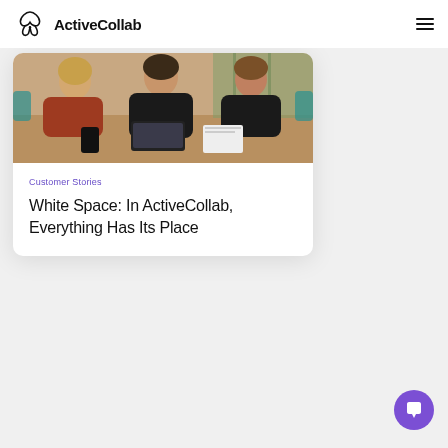ActiveCollab
[Figure (photo): Three women sitting around a table working together, one typing on a laptop keyboard, in an office or co-working space setting.]
Customer Stories
White Space: In ActiveCollab, Everything Has Its Place
[Figure (other): Purple circular chat/messaging button icon in the bottom right corner.]